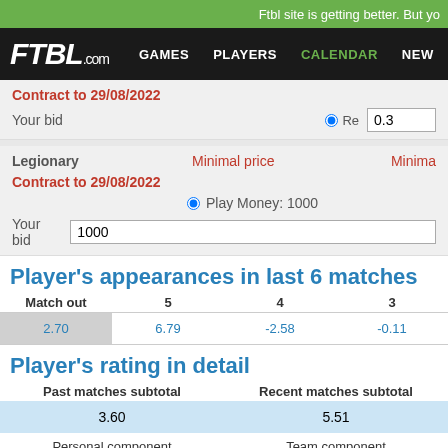Ftbl site is getting better. But yo
FTBL.com  GAMES  PLAYERS  CALENDAR  NEW
Contract to 29/08/2022
Your bid  0.3
Legionary  Minimal price  Minima
Contract to 29/08/2022
Play Money: 1000
Your bid  1000
Player's appearances in last 6 matches
| Match out | 5 | 4 | 3 |
| --- | --- | --- | --- |
| 2.70 | 6.79 | -2.58 | -0.11 |
Player's rating in detail
| Past matches subtotal | Recent matches subtotal |
| --- | --- |
| 3.60 | 5.51 |
| Personal component | Team component |
| -10.98 | 15.43 |